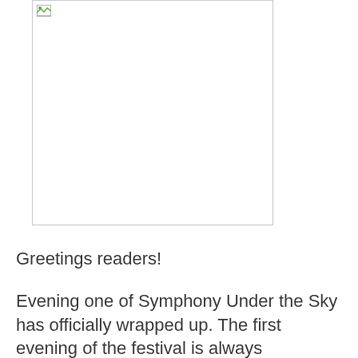[Figure (photo): A bordered image placeholder with a broken image icon in the top-left corner. The image area is blank/white with a light gray border.]
Greetings readers!
Evening one of Symphony Under the Sky has officially wrapped up. The first evening of the festival is always composed of classical program that is similar to the Masters